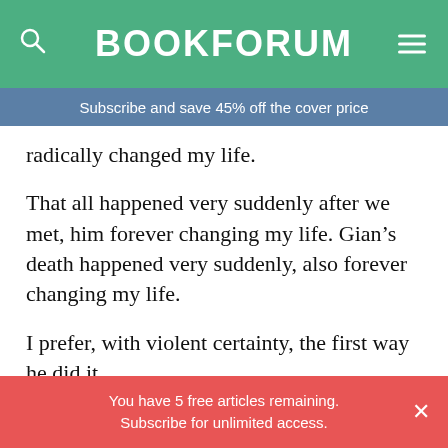BOOKFORUM
Subscribe and save 45% off the cover price
radically changed my life.
That all happened very suddenly after we met, him forever changing my life. Gian’s death happened very suddenly, also forever changing my life.
I prefer, with violent certainty, the first way he did it.
Every morning I wake up and make coffee, then I open Instagram to watch the half dozen videos Gian sent me after waking up in Italy. I send him another
You have 5 free articles remaining. Subscribe for unlimited access.